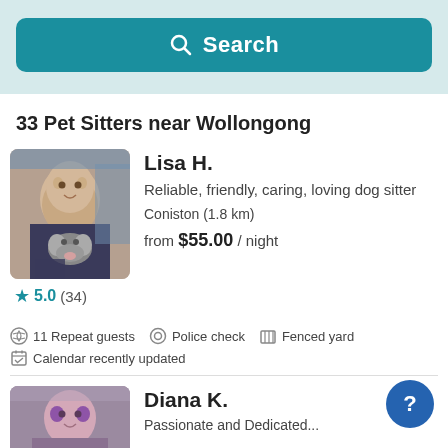[Figure (screenshot): Teal search button with magnifying glass icon and text 'Search' on a light blue background]
33 Pet Sitters near Wollongong
[Figure (photo): Photo of Lisa H. smiling with a black and white dog]
Lisa H.
Reliable, friendly, caring, loving dog sitter
Coniston (1.8 km)
from $55.00 / night
5.0 (34)
11 Repeat guests
Police check
Fenced yard
Calendar recently updated
[Figure (photo): Photo of Diana K. with purple hair]
Diana K.